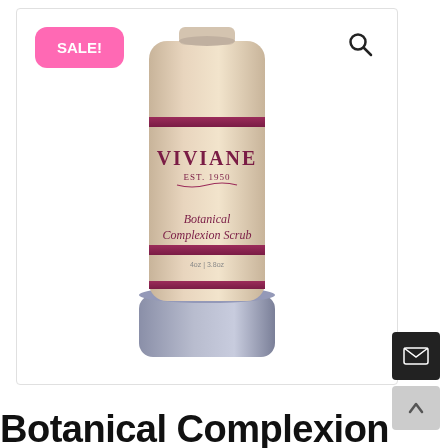[Figure (photo): Product photo of Viviane Botanical Complexion Scrub tube with sandy/granular texture, pink label bands, and silver cap, inside a white product card with rounded corners]
SALE!
Botanical Complexion